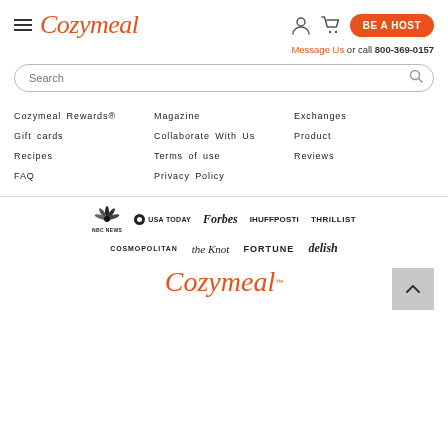Cozymeal — BE A HOST — hamburger menu — user icon — cart icon
Message Us or call 800-369-0157
Search
Cozymeal Rewards®
Magazine
Exchanges
Gift cards
Collaborate With Us
Product
Recipes
Terms of use
Reviews
FAQ
Privacy Policy
[Figure (logo): Press logos: NBC News, USA TODAY, Forbes, HuffPost, Thrillist, Cosmopolitan, the knot, FORTUNE, delish]
[Figure (logo): Cozymeal logo in orange script at bottom]